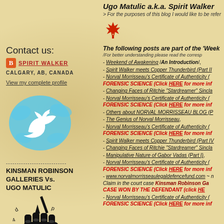Ugo Matulic a.k.a. Spirit Walker
> For the purposes of this blog I would like to be refer...
Contact us:
SPIRIT WALKER
CALGARY, AB, CANADA
View my complete profile
[Figure (illustration): Twitter bird logo in blue ink splash style]
----------------------------
KINSMAN ROBINSON GALLERIES Vs. UGO MATULIC
[Figure (illustration): Black fist raised holding a pen/brush with decorative elements]
CV-10-417123
SLAPP SUIT WON BY THE
[Figure (illustration): Red maple leaf icon]
The following posts are part of the 'Week...
/For better understanding please read the corresp...
- Weekend of Awakening /An Introduction/,
- Spirit Walker meets Copper Thunderbird (Part II...
- Norval Morrisseau's Certificate of Authenticity (...  FORENSIC SCIENCE (Click HERE for more info...
- Changing Faces of Ritchie "Stardreamer" Sincla...
- Norval Morrisseau's Certificate of Authenticity (... FORENSIC SCIENCE (Click HERE for more info...
- Others about NORVAL MORRISSEAU BLOG (P...
- The Genius of Norval Morrisseau,
- Norval Morrisseau's Certificate of Authenticity (... FORENSIC SCIENCE (Click HERE for more info...
- Spirit Walker meets Copper Thunderbird (Part IV...
- Changing Faces of Ritchie "Stardreamer" Sincla...
- Manipulative Nature of Gabor Vadas (Part I),
- Norval Morrisseau's Certificate of Authenticity (... FORENSIC SCIENCE (Click HERE for more info...
- www.norvalmorrisseaulegaldefencefund.com ~ ... Claim in the court case Kinsman Robinson Ga... CASE WON BY THE DEFENDANT (click HE...
- Norval Morrisseau's Certificate of Authenticity (... FORENSIC SCIENCE (Click HERE for more info...